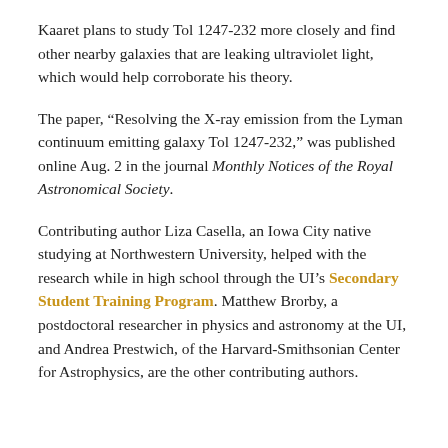Kaaret plans to study Tol 1247-232 more closely and find other nearby galaxies that are leaking ultraviolet light, which would help corroborate his theory.
The paper, “Resolving the X-ray emission from the Lyman continuum emitting galaxy Tol 1247-232,” was published online Aug. 2 in the journal Monthly Notices of the Royal Astronomical Society.
Contributing author Liza Casella, an Iowa City native studying at Northwestern University, helped with the research while in high school through the UI’s Secondary Student Training Program. Matthew Brorby, a postdoctoral researcher in physics and astronomy at the UI, and Andrea Prestwich, of the Harvard-Smithsonian Center for Astrophysics, are the other contributing authors.